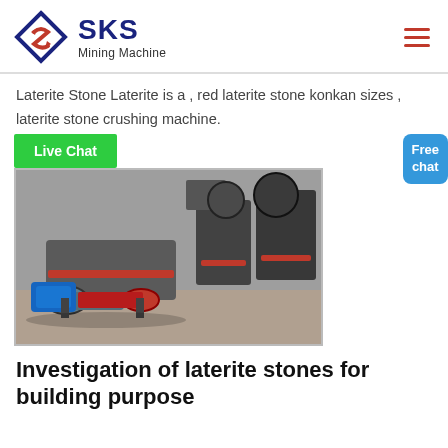SKS Mining Machine
Laterite Stone Laterite is a , red laterite stone konkan sizes , laterite stone crushing machine.
[Figure (screenshot): Green Live Chat button followed by a photo of mining/crushing machines on a factory floor with red and grey equipment.]
Investigation of laterite stones for building purpose